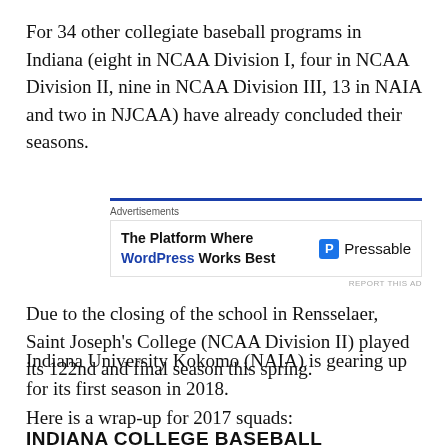For 34 other collegiate baseball programs in Indiana (eight in NCAA Division I, four in NCAA Division II, nine in NCAA Division III, 13 in NAIA and two in NJCAA) have already concluded their seasons.
[Figure (other): Advertisement banner for Pressable - 'The Platform Where WordPress Works Best']
Due to the closing of the school in Rensselaer, Saint Joseph's College (NCAA Division II) played its 122nd and final season this spring.
Indiana University Kokomo (NAIA) is gearing up for its first season in 2018.
Here is a wrap-up for 2017 squads:
INDIANA COLLEGE BASEBALL